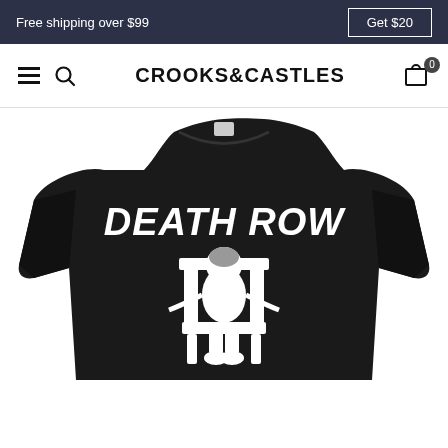Free shipping over $99 | Get $20
CROOKS&CASTLES
[Figure (photo): Black t-shirt with Death Row Records logo — bold white gothic text reading 'DEATH ROW' at top and 'RECORDS' at bottom, with a man-in-electric-chair graphic in the center, displayed on a white background.]